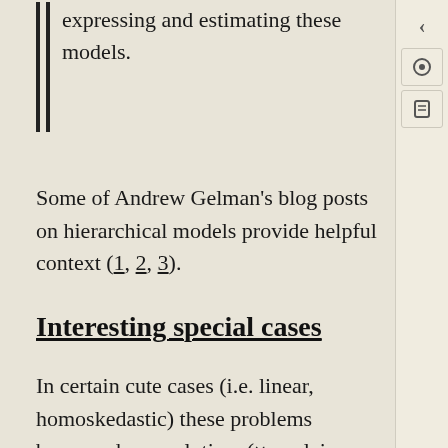expressing and estimating these models.
Some of Andrew Gelman's blog posts on hierarchical models provide helpful context (1, 2, 3).
Interesting special cases
In certain cute cases (i.e. linear, homoskedastic) these problems become deconvolution. (× explain what I mean here and why I bothered to say it.) See ANOVA for an important special case. More